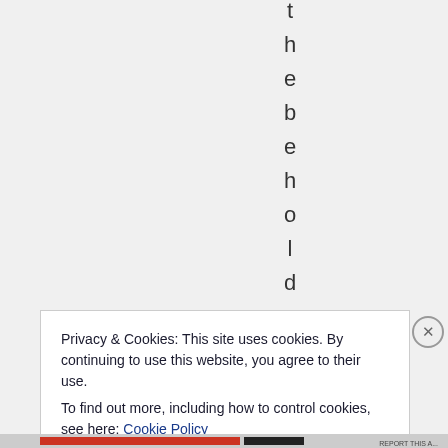t h e b e h o l d e
Privacy & Cookies: This site uses cookies. By continuing to use this website, you agree to their use.
To find out more, including how to control cookies, see here: Cookie Policy
Close and accept